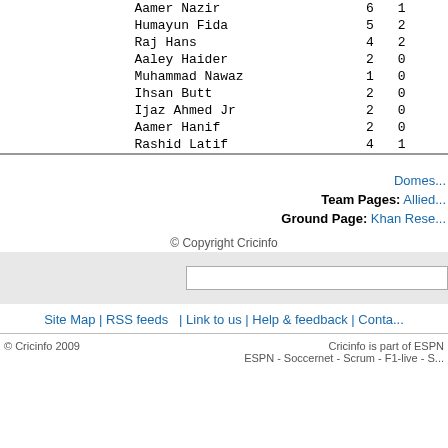| Bowling |  | M |
| --- | --- | --- |
| Aamer Nazir | 6 | 1 |
| Humayun Fida | 5 | 2 |
| Raj Hans | 4 | 2 |
| Aaley Haider | 2 | 0 |
| Muhammad Nawaz | 1 | 0 |
| Ihsan Butt | 2 | 0 |
| Ijaz Ahmed Jr | 2 | 0 |
| Aamer Hanif | 2 | 0 |
| Rashid Latif | 4 | 1 |
Domes...
Team Pages: Allied...
Ground Page: Khan Rese...
© Copyright Cricinfo
Site Map | RSS feeds    | Link to us | Help & feedback | Conta...
© Cricinfo 2009    Cricinfo is part of ESPN    ESPN - Soccernet - Scrum - F1-live - S...